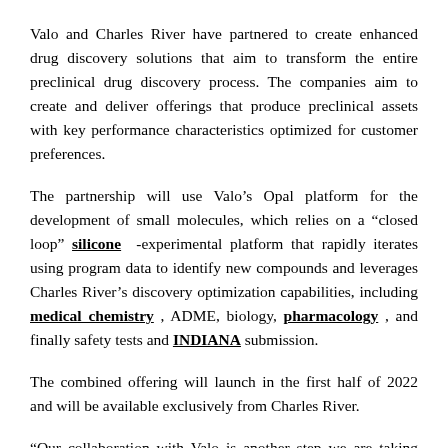Valo and Charles River have partnered to create enhanced drug discovery solutions that aim to transform the entire preclinical drug discovery process. The companies aim to create and deliver offerings that produce preclinical assets with key performance characteristics optimized for customer preferences.
The partnership will use Valo’s Opal platform for the development of small molecules, which relies on a “closed loop” silicone -experimental platform that rapidly iterates using program data to identify new compounds and leverages Charles River’s discovery optimization capabilities, including medical chemistry , ADME, biology, pharmacology , and finally safety tests and INDIANA submission.
The combined offering will launch in the first half of 2022 and will be available exclusively from Charles River.
“Our collaboration with Valo is another step we are taking towards accelerating drug discovery and development...